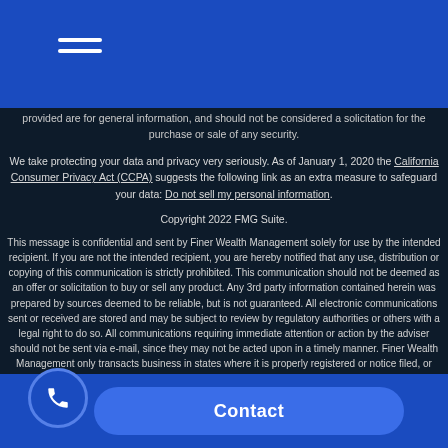Navigation menu (hamburger icon)
provided are for general information, and should not be considered a solicitation for the purchase or sale of any security.
We take protecting your data and privacy very seriously. As of January 1, 2020 the California Consumer Privacy Act (CCPA) suggests the following link as an extra measure to safeguard your data: Do not sell my personal information.
Copyright 2022 FMG Suite.
This message is confidential and sent by Finer Wealth Management solely for use by the intended recipient. If you are not the intended recipient, you are hereby notified that any use, distribution or copying of this communication is strictly prohibited. This communication should not be deemed as an offer or solicitation to buy or sell any product. Any 3rd party information contained herein was prepared by sources deemed to be reliable, but is not guaranteed. All electronic communications sent or received are stored and may be subject to review by regulatory authorities or others with a legal right to do so. All communications requiring immediate attention or action by the adviser should not be sent via e-mail, since they may not be acted upon in a timely manner. Finer Wealth Management only transacts business in states where it is properly registered or notice filed, or excluded or exempted from registration requirements. Finer Wealth Management has taken precautions to screen this message for virus... communicate using the postal service, please notify our firm promptly in writing.
Contact